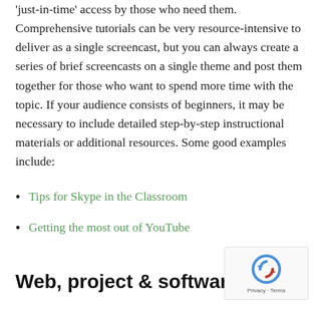'just-in-time' access by those who need them. Comprehensive tutorials can be very resource-intensive to deliver as a single screencast, but you can always create a series of brief screencasts on a single theme and post them together for those who want to spend more time with the topic. If your audience consists of beginners, it may be necessary to include detailed step-by-step instructional materials or additional resources. Some good examples include:
Tips for Skype in the Classroom
Getting the most out of YouTube
Web, project & software